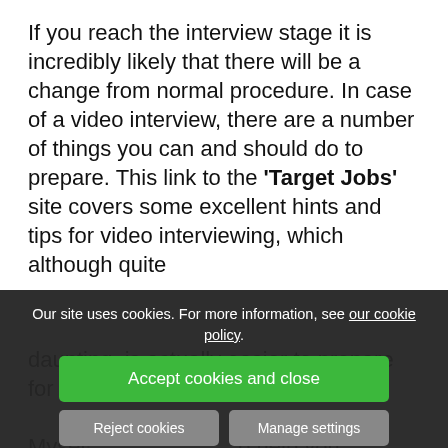If you reach the interview stage it is incredibly likely that there will be a change from normal procedure. In case of a video interview, there are a number of things you can and should do to prepare. This link to the 'Target Jobs' site covers some excellent hints and tips for video interviewing, which although quite daunting, is actually easier to prepare for in many ways – d...
Our site uses cookies. For more information, see our cookie policy.
Accept cookies and close
Reject cookies
Manage settings
Myself ... to help you prepare for online or video interviews. so ple...o...r of HR professionals who have offered that...